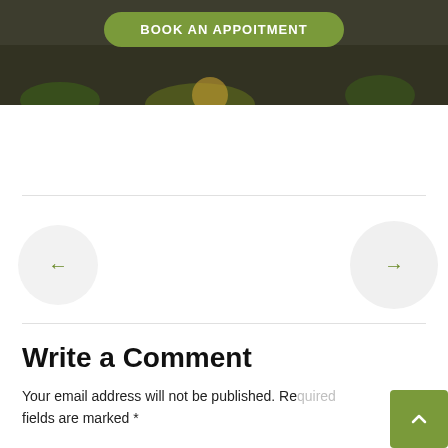[Figure (screenshot): Dark banner with food background image and a green rounded button labeled BOOK AN APPOITMENT]
[Figure (screenshot): Navigation carousel section with left arrow circle button and right arrow circle button on either side]
Write a Comment
Your email address will not be published. Required fields are marked *